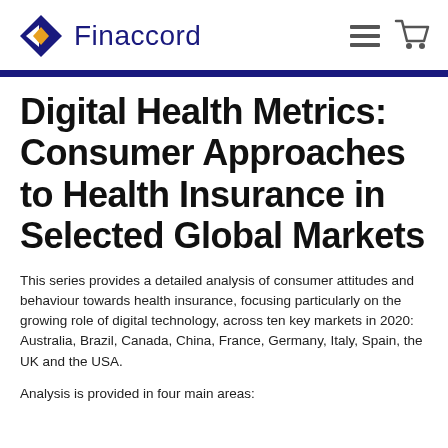Finaccord
Digital Health Metrics: Consumer Approaches to Health Insurance in Selected Global Markets
This series provides a detailed analysis of consumer attitudes and behaviour towards health insurance, focusing particularly on the growing role of digital technology, across ten key markets in 2020: Australia, Brazil, Canada, China, France, Germany, Italy, Spain, the UK and the USA.
Analysis is provided in four main areas: